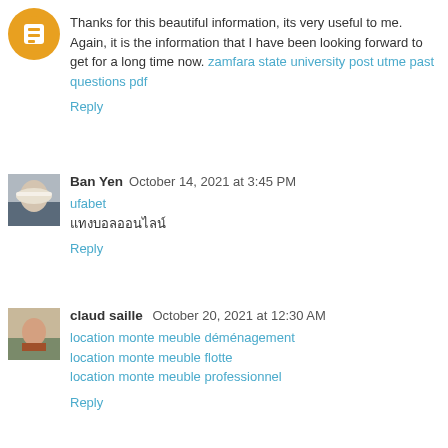Thanks for this beautiful information, its very useful to me. Again, it is the information that I have been looking forward to get for a long time now. zamfara state university post utme past questions pdf
Reply
Ban Yen  October 14, 2021 at 3:45 PM
ufabet
แทงบอลออนไลน์
Reply
claud saille  October 20, 2021 at 12:30 AM
location monte meuble déménagement
location monte meuble flotte
location monte meuble professionnel
Reply